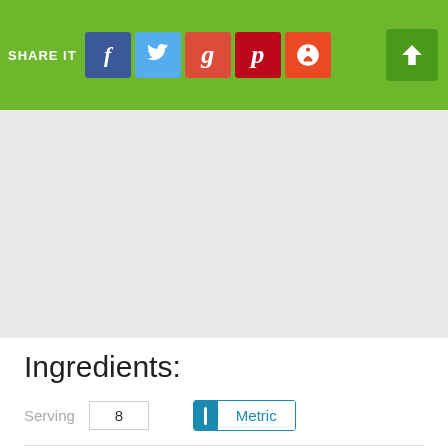SHARE IT [facebook] [twitter] [google+] [pinterest] [stumbleupon] [up arrow]
[Figure (other): Gray advertisement placeholder area]
Ingredients:
Serving 8  Metric
8 slices white sandwich bread
2 tbsp butter or margarine, softened